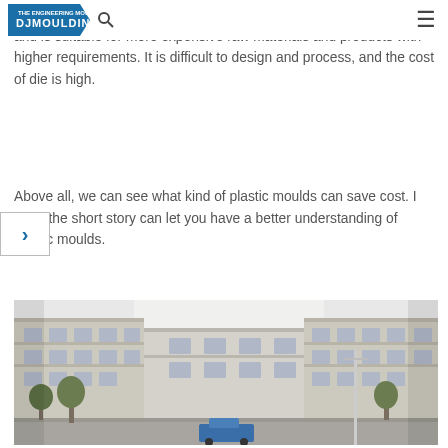DJMoulding logo and navigation
the ... system is also called no nozzle system, which can ... materials and is suitable for more expensive raw materials and products with higher requirements. It is difficult to design and process, and the cost of die is high.
Above all, we can see what kind of plastic moulds can save cost. I hope the short story can let you have a better understanding of plastic moulds.
[Figure (photo): Exterior photograph of a multi-story factory/office building complex with a central courtyard, light-colored facade, multiple windows, trees in the foreground, and a blue truck visible at the bottom center.]